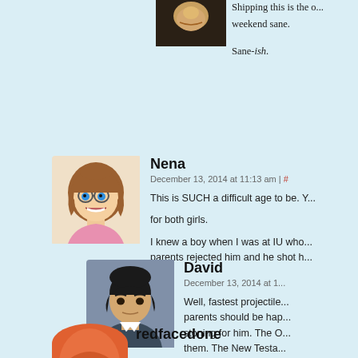Shipping this is the o... weekend sane.

Sane-ish.
[Figure (photo): Partial photo of a person, top of page, right side]
Nena
December 13, 2014 at 11:13 am | #
This is SUCH a difficult age to be. ... for both girls.
I knew a boy when I was at IU who... parents rejected him and he shot h...
[Figure (illustration): Avatar illustration of a girl with brown hair and blue eyes, pink top, smiling (Nena)]
David
December 13, 2014 at 1...
Well, fastest projectile... parents should be hap... stoning for him. The O... them. The New Testa... impressed with them ... for the world's sins.
[Figure (illustration): Avatar illustration of a boy with black hair, dark outfit (David)]
redfacedone